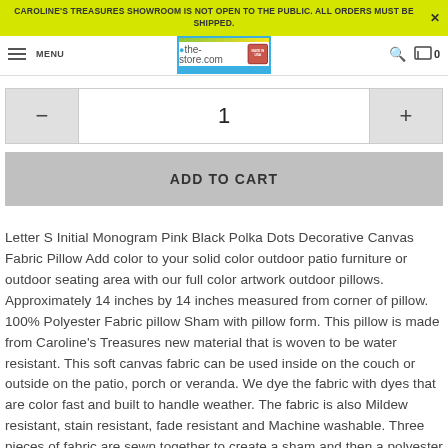CAROLINE'S TREASURES SHOWROOM IS NOT OPEN TO THE PUBLIC. ALL ORDERS MUST BE SHIPPED.
[Figure (screenshot): Website navigation bar with hamburger menu, MENU text, the-store.com logo with Made in USA stamp, search icon, and cart icon showing 0 items]
1
ADD TO CART
Letter S Initial Monogram Pink Black Polka Dots Decorative Canvas Fabric Pillow Add color to your solid color outdoor patio furniture or outdoor seating area with our full color artwork outdoor pillows. Approximately 14 inches by 14 inches measured from corner of pillow. 100% Polyester Fabric pillow Sham with pillow form. This pillow is made from Caroline's Treasures new material that is woven to be water resistant. This soft canvas fabric can be used inside on the couch or outside on the patio, porch or veranda. We dye the fabric with dyes that are color fast and built to handle weather. The fabric is also Mildew resistant, stain resistant, fade resistant and Machine washable. Three pieces of fabric are sewn together to create a sham and then a polyester insert is placed inside the sham